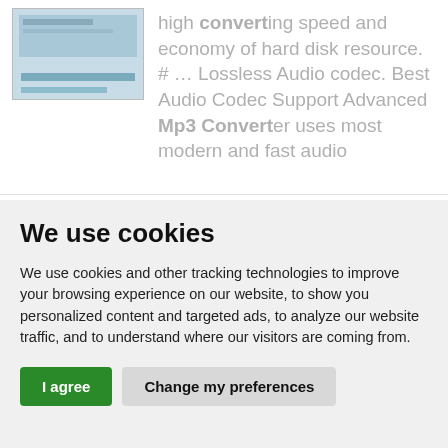high converting speed and economy of hard disk resource. # ... Lossless Audio codec. Best Audio Codec Support Advanced Mp3 Converter uses most modern and fast audio algorithms.
We use cookies
We use cookies and other tracking technologies to improve your browsing experience on our website, to show you personalized content and targeted ads, to analyze our website traffic, and to understand where our visitors are coming from.
I agree | Change my preferences